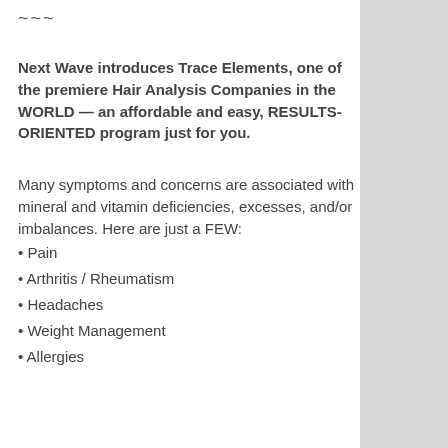~~~
Next Wave introduces Trace Elements, one of the premiere Hair Analysis Companies in the WORLD — an affordable and easy, RESULTS-ORIENTED program just for you.
Many symptoms and concerns are associated with mineral and vitamin deficiencies, excesses, and/or imbalances. Here are just a FEW:
• Pain
• Arthritis / Rheumatism
• Headaches
• Weight Management
• Allergies